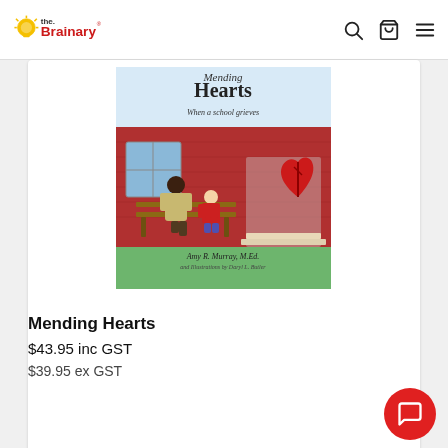the Brainary
[Figure (illustration): Book cover of 'Mending Hearts When a School Grieves' by Amy R. Murray, M.Ed., illustrated by Daryl L. Butler. Shows an adult and a child sitting on a bench in front of a school building with a large broken heart on the door.]
Mending Hearts
$43.95 inc GST
$39.95 ex GST